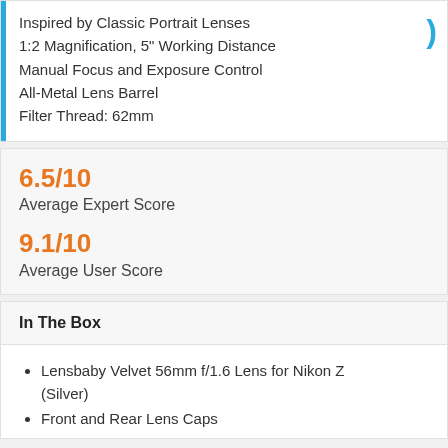Inspired by Classic Portrait Lenses
1:2 Magnification, 5" Working Distance
Manual Focus and Exposure Control
All-Metal Lens Barrel
Filter Thread: 62mm
6.5/10
Average Expert Score
9.1/10
Average User Score
In The Box
Lensbaby Velvet 56mm f/1.6 Lens for Nikon Z (Silver)
Front and Rear Lens Caps